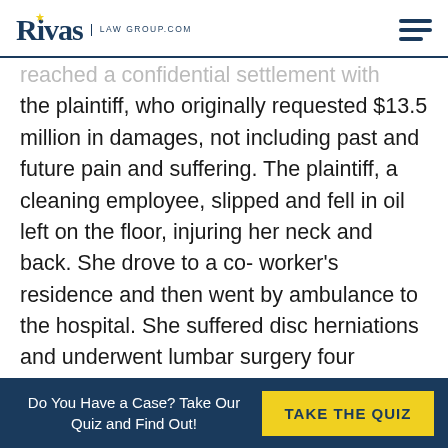Rivas Law Group.com
reached a confidential settlement with the plaintiff, who originally requested $13.5 million in damages, not including past and future pain and suffering. The plaintiff, a cleaning employee, slipped and fell in oil left on the floor, injuring her neck and back. She drove to a co-worker's residence and then went by ambulance to the hospital. She suffered disc herniations and underwent lumbar surgery four months later. A year after the original accident, she underwent further surgery, but complications led to
Do You Have a Case? Take Our Quiz and Find Out! | TAKE THE QUIZ